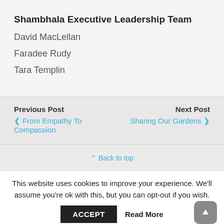Shambhala Executive Leadership Team
David MacLellan
Faradee Rudy
Tara Templin
Previous Post
‹ From Empathy To Compassion
Next Post
Sharing Our Gardens ›
⋀ Back to top
This website uses cookies to improve your experience. We'll assume you're ok with this, but you can opt-out if you wish.
ACCEPT   Read More
Translate »